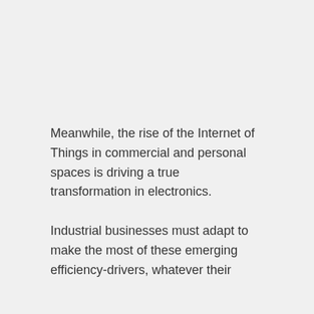Meanwhile, the rise of the Internet of Things in commercial and personal spaces is driving a true transformation in electronics.
Industrial businesses must adapt to make the most of these emerging efficiency-drivers, whatever their